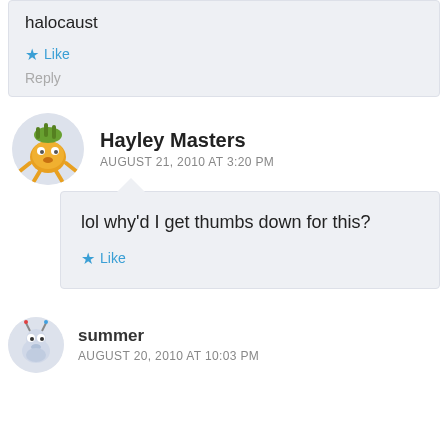I heard hide and seek was actually about the halocaust
Like
Reply
Hayley Masters
AUGUST 21, 2010 AT 3:20 PM
lol why'd I get thumbs down for this?
Like
summer
AUGUST 20, 2010 AT 10:03 PM